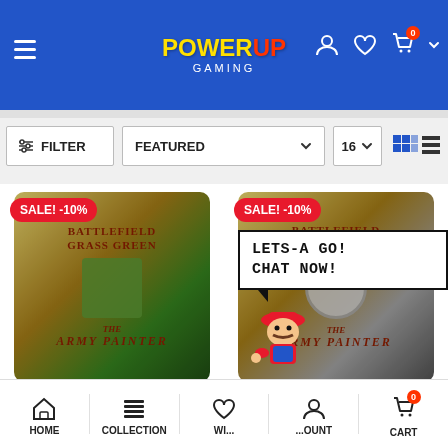PowerUp Gaming - header with menu, logo, user/wishlist/cart icons
[Figure (screenshot): Filter bar with FILTER button, FEATURED dropdown, 16 per-page selector, grid/list view toggle icons]
[Figure (photo): Product card 1: The Army Painter - Battlefield Grass Green, SALE! -10% badge]
[Figure (photo): Product card 2: The Army Painter - Battlefield Razorwire, SALE! -10% badge]
The Army Painter - Battle...
The
[Figure (infographic): Mario chat widget: LETS-A GO! CHAT NOW! speech bubble with Mario character]
HOME | COLLECTION | WI... | ...OUNT | CART (0)